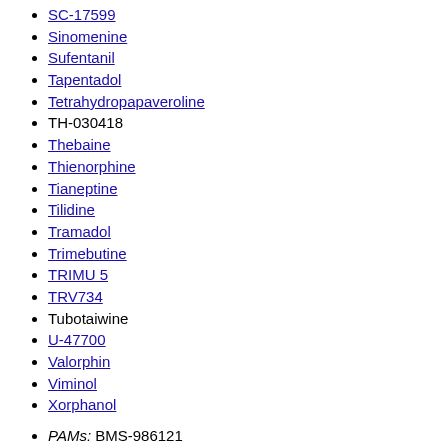SC-17599
Sinomenine
Sufentanil
Tapentadol
Tetrahydropapaveroline
TH-030418
Thebaine
Thienorphine
Tianeptine
Tilidine
Tramadol
Trimebutine
TRIMU 5
TRV734
Tubotaiwine
U-47700
Valorphin
Viminol
Xorphanol
PAMs: BMS-986121
BMS-986122
Antagonists: (3S,4S)-Picenadol
2-(S)-N,N-(R)-Viminol